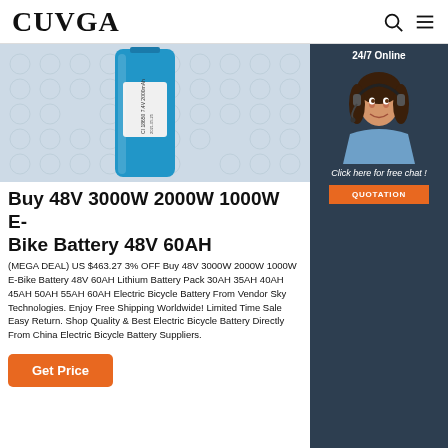CUVGA
[Figure (photo): Blue lithium battery cell with a white label, resting on a light surface. Label reads: CI 18650 7.4V 2000mAh and a date code.]
[Figure (photo): 24/7 Online chat widget showing a woman with a headset, smiling. Dark navy background. Includes a 'Click here for free chat!' message and an orange QUOTATION button.]
Buy 48V 3000W 2000W 1000W E-Bike Battery 48V 60AH
(MEGA DEAL) US $463.27 3% OFF Buy 48V 3000W 2000W 1000W E-Bike Battery 48V 60AH Lithium Battery Pack 30AH 35AH 40AH 45AH 50AH 55AH 60AH Electric Bicycle Battery From Vendor Sky Technologies. Enjoy Free Shipping Worldwide! Limited Time Sale Easy Return. Shop Quality & Best Electric Bicycle Battery Directly From China Electric Bicycle Battery Suppliers.
Get Price